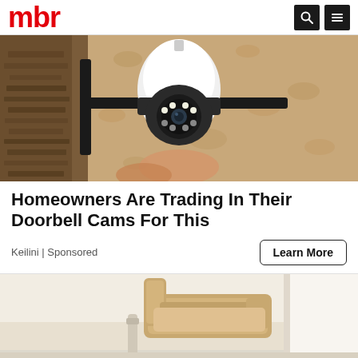mbr
[Figure (photo): Security camera mounted on a wall bracket with LED ring lights, against a textured stucco wall]
Homeowners Are Trading In Their Doorbell Cams For This
Keilini | Sponsored
[Figure (photo): Stairlift chair on a staircase, partial view showing the seat and rail]